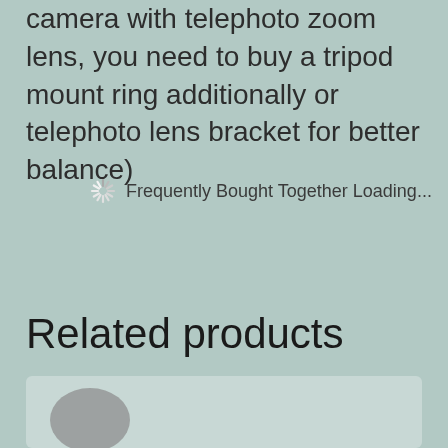camera with telephoto zoom lens, you need to buy a tripod mount ring additionally or telephoto lens bracket for better balance)
Frequently Bought Together Loading...
Related products
[Figure (photo): Product image thumbnail at bottom of page]